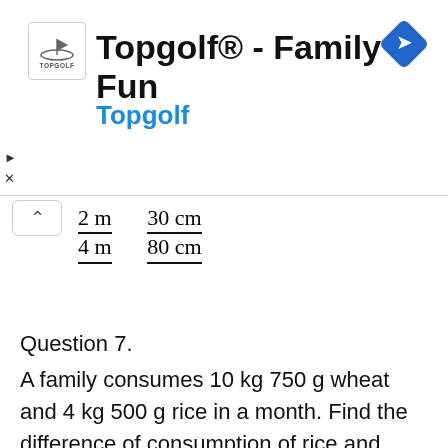[Figure (other): Topgolf advertisement banner with logo, title 'Topgolf® - Family Fun', subtitle 'Topgolf' in blue, navigation icon, and playback/close controls]
Question 7.
A family consumes 10 kg 750 g wheat and 4 kg 500 g rice in a month. Find the difference of consumption of rice and wheat.
Solution:
Quantity of wheat consumed = 10 kg 750 g
Quantity of rice consumed = 4 kg 500 g
Difference of consumption of rice and